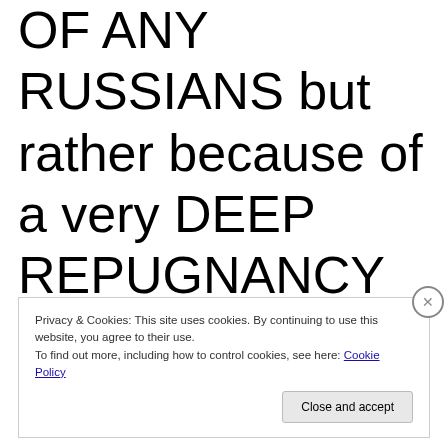OF ANY RUSSIANS but rather because of a very DEEP REPUGNANCY toward her.
Privacy & Cookies: This site uses cookies. By continuing to use this website, you agree to their use.
To find out more, including how to control cookies, see here: Cookie Policy
Close and accept